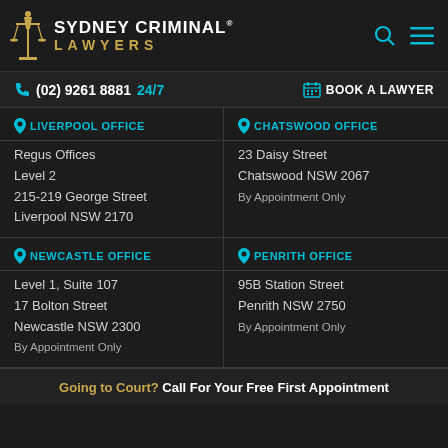Sydney Criminal Lawyers
(02) 9261 8881 24/7   BOOK A LAWYER
LIVERPOOL OFFICE
Regus Offices
Level 2
215-219 George Street
Liverpool NSW 2170
CHATSWOOD OFFICE
23 Daisy Street
Chatswood NSW 2067

By Appointment Only
NEWCASTLE OFFICE
Level 1, Suite 107
17 Bolton Street
Newcastle NSW 2300

By Appointment Only
PENRITH OFFICE
95B Station Street
Penrith NSW 2750

By Appointment Only
Going to Court? Call For Your Free First Appointment